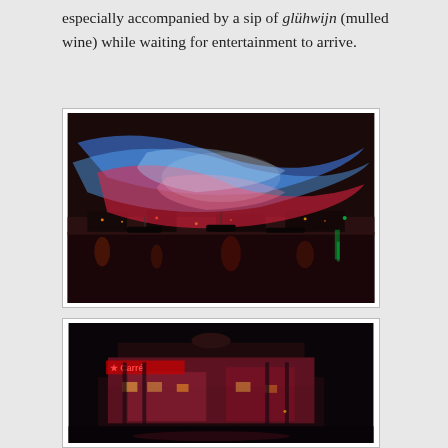especially accompanied by a sip of glühwijn (mulled wine) while waiting for entertainment to arrive.
[Figure (photo): Night photograph of a large illuminated colorful light installation over a waterway in Amsterdam, with blue and red sweeping light ribbons above the water and city lights reflected in the dark water below.]
[Figure (photo): Night photograph of an illuminated building with a 'Carre' sign and colorful projections on its facade, taken from across a waterway.]